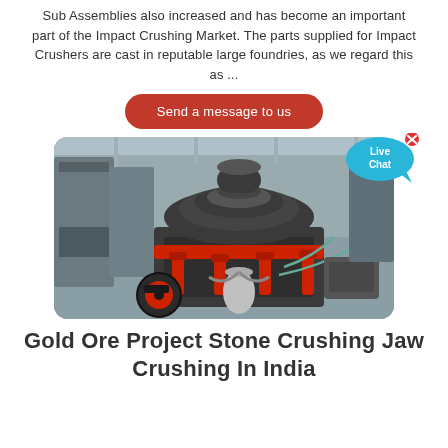Sub Assemblies also increased and has become an important part of the Impact Crushing Market. The parts supplied for Impact Crushers are cast in reputable large foundries, as we regard this as ...
Send a message to us
[Figure (photo): Industrial cone crusher machine in a factory setting, dark grey/black with red accents and hydraulic components]
Gold Ore Project Stone Crushing Jaw Crushing In India